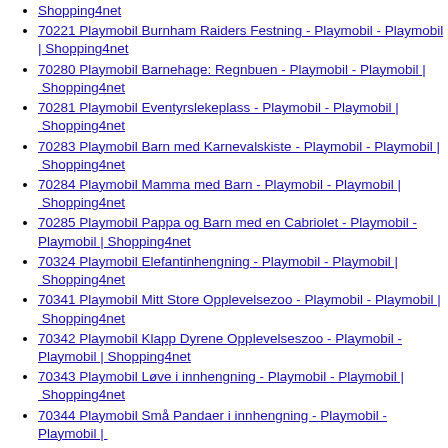Shopping4net
70221 Playmobil Burnham Raiders Festning - Playmobil - Playmobil | Shopping4net
70280 Playmobil Barnehage: Regnbuen - Playmobil - Playmobil | Shopping4net
70281 Playmobil Eventyrslekeplass - Playmobil - Playmobil | Shopping4net
70283 Playmobil Barn med Karnevalskiste - Playmobil - Playmobil | Shopping4net
70284 Playmobil Mamma med Barn - Playmobil - Playmobil | Shopping4net
70285 Playmobil Pappa og Barn med en Cabriolet - Playmobil - Playmobil | Shopping4net
70324 Playmobil Elefantinhengning - Playmobil - Playmobil | Shopping4net
70341 Playmobil Mitt Store Opplevelsezoo - Playmobil - Playmobil | Shopping4net
70342 Playmobil Klapp Dyrene Opplevelseszoo - Playmobil - Playmobil | Shopping4net
70343 Playmobil Løve i innhengning - Playmobil - Playmobil | Shopping4net
70344 Playmobil Små Pandaer i innhengning - Playmobil - Playmobil | Shopping4net